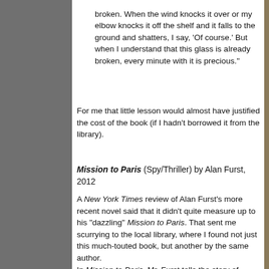broken. When the wind knocks it over or my elbow knocks it off the shelf and it falls to the ground and shatters, I say, 'Of course.' But when I understand that this glass is already broken, every minute with it is precious."
For me that little lesson would almost have justified the cost of the book (if I hadn't borrowed it from the library).
Mission to Paris (Spy/Thriller) by Alan Furst, 2012
A New York Times review of Alan Furst's more recent novel said that it didn't quite measure up to his "dazzling" Mission to Paris. That sent me scurrying to the local library, where I found not just this much-touted book, but another by the same author.
In Mission to Paris, Mr. Furst tells the story of Fredric Stahl, a Hollywood star of Austrian origins, who has been sent by his studio to Paris to make a movie in the late summer of 1938. Stahl soon falls into the clutches of Nazi propagandists who are swarming Paris. They want him to come to Germany to judge a film